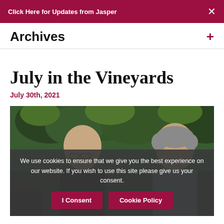Click Here for Updates from Jasper
Archives
July in the Vineyards
July 30th, 2021
[Figure (photo): Two men standing outdoors in front of green trees; one is bald wearing glasses and a dark jacket, the other has grey hair wearing a light jacket]
We use cookies to ensure that we give you the best experience on our website. If you wish to use this site please give us your consent.